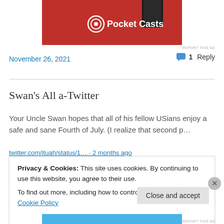[Figure (photo): Pocket Casts advertisement banner with red background showing a smartphone device and the Pocket Casts logo with text]
REPORT THIS AD
November 26, 2021
1 Reply
Swan's All a-Twitter
Your Uncle Swan hopes that all of his fellow USians enjoy a safe and sane Fourth of July. (I realize that second p…
twitter.com/ituah/status/1… · 2 months ago
Privacy & Cookies: This site uses cookies. By continuing to use this website, you agree to their use.
To find out more, including how to control cookies, see here: Cookie Policy
Close and accept